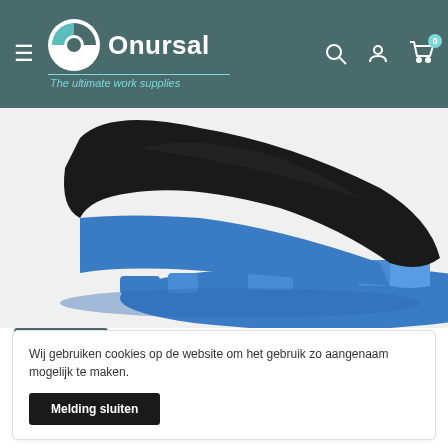[Figure (logo): Onursal logo with teal circular icon and white text 'Onursal', tagline 'The ultimate work supplies']
[Figure (photo): Close-up of a black and blue safety boot sole showing blue rubber outsole and black upper]
[Figure (photo): Thumbnail of safety boot product image with ROK brand badge]
Wij gebruiken cookies op de website om het gebruik zo aangenaam mogelijk te maken.
Melding sluiten